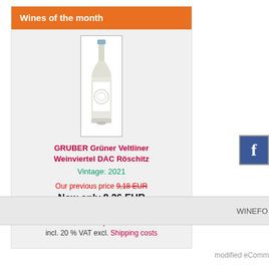Wines of the month
[Figure (photo): A bottle of white wine — GRUBER Grüner Veltliner Weinviertel DAC Röschitz 2021]
GRUBER Grüner Veltliner Weinviertel DAC Röschitz
Vintage: 2021
Our previous price 9,18 EUR
Now only 8,26 EUR
you save 10 % / 0,92 EUR
8,26 EUR per 0.75 l
incl. 20 % VAT excl. Shipping costs
WINEFO
modified eComm